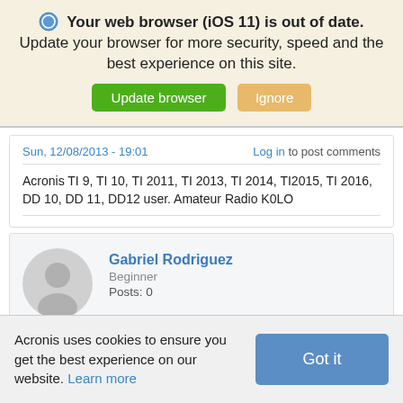Your web browser (iOS 11) is out of date. Update your browser for more security, speed and the best experience on this site.
Update browser | Ignore
Sun, 12/08/2013 - 19:01
Log in to post comments
Acronis TI 9, TI 10, TI 2011, TI 2013, TI 2014, TI2015, TI 2016, DD 10, DD 11, DD12 user. Amateur Radio K0LO
Gabriel Rodriguez
Beginner
Posts: 0
Acronis uses cookies to ensure you get the best experience on our website. Learn more | Got it